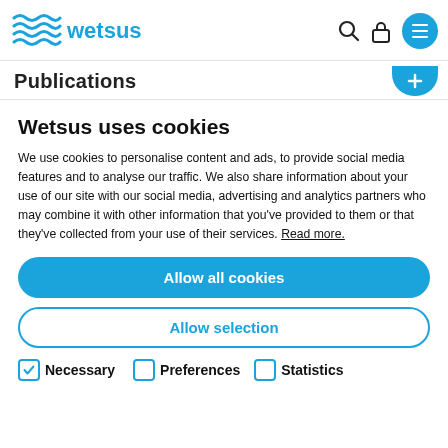wetsus — Publications
Wetsus uses cookies
We use cookies to personalise content and ads, to provide social media features and to analyse our traffic. We also share information about your use of our site with our social media, advertising and analytics partners who may combine it with other information that you've provided to them or that they've collected from your use of their services. Read more.
Allow all cookies
Allow selection
Necessary   Preferences   Statistics